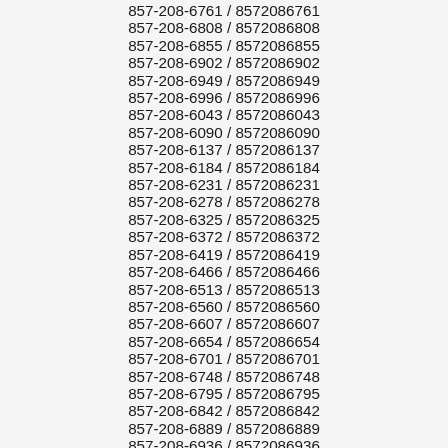857-208-6761 / 8572086761
857-208-6808 / 8572086808
857-208-6855 / 8572086855
857-208-6902 / 8572086902
857-208-6949 / 8572086949
857-208-6996 / 8572086996
857-208-6043 / 8572086043
857-208-6090 / 8572086090
857-208-6137 / 8572086137
857-208-6184 / 8572086184
857-208-6231 / 8572086231
857-208-6278 / 8572086278
857-208-6325 / 8572086325
857-208-6372 / 8572086372
857-208-6419 / 8572086419
857-208-6466 / 8572086466
857-208-6513 / 8572086513
857-208-6560 / 8572086560
857-208-6607 / 8572086607
857-208-6654 / 8572086654
857-208-6701 / 8572086701
857-208-6748 / 8572086748
857-208-6795 / 8572086795
857-208-6842 / 8572086842
857-208-6889 / 8572086889
857-208-6936 / 8572086936
857-208-6983 / 8572086983
857-208-6030 / 8572086030
857-208-6077 / 8572086077